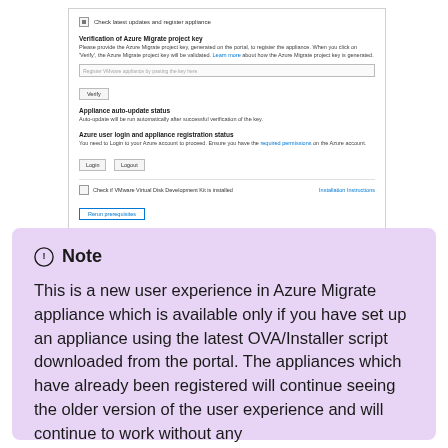[Figure (screenshot): Screenshot of Azure Migrate appliance configuration UI showing: Check latest updates and register appliance section with Verification of Azure Migrate project key, input field, Verify button, Appliance auto-update status, Azure user login and appliance registration status with Login/Logout buttons, Check if VMware Virtual Disk Development Kit is installed row with Installation Instructions link, and Rerun prerequisites button.]
Note
This is a new user experience in Azure Migrate appliance which is available only if you have set up an appliance using the latest OVA/Installer script downloaded from the portal. The appliances which have already been registered will continue seeing the older version of the user experience and will continue to work without any